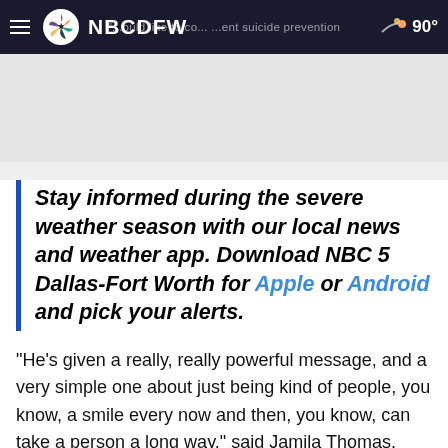NBC5 NBCDFW — 90°
Stay informed during the severe weather season with our local news and weather app. Download NBC 5 Dallas-Fort Worth for Apple or Android and pick your alerts.
"He's given a really, really powerful message, and a very simple one about just being kind of people, you know, a smile every now and then, you know, can take a person a long way," said Jamila Thomas, Thomas' mom.